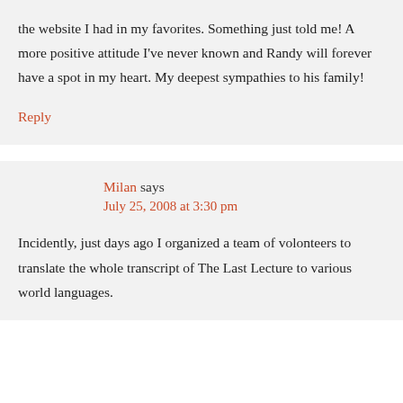the website I had in my favorites. Something just told me! A more positive attitude I've never known and Randy will forever have a spot in my heart. My deepest sympathies to his family!
Reply
Milan says
July 25, 2008 at 3:30 pm
Incidently, just days ago I organized a team of volonteers to translate the whole transcript of The Last Lecture to various world languages.